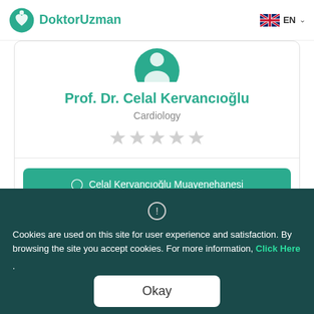DoktorUzman | EN
Prof. Dr. Celal Kervancıoğlu
Cardiology
[Figure (other): Five empty/grey star rating icons]
Celal Kervancıoğlu Muayenehanesi
Ankara Üniversitesi Cebeci Kalp Merkezi
İan Cd No:13/14 Kavaklıdere, Ankara
Cookies are used on this site for user experience and satisfaction. By browsing the site you accept cookies. For more information, Click Here
.
Okay
Health Guide | Institutions | Polyclinics | Log In